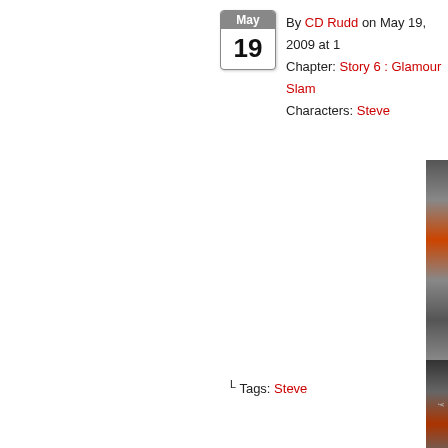By CD Rudd on May 19, 2009 at 1 Chapter: Story 6 : Glamour Slam Characters: Steve
[Figure (photo): Partial sidebar image strip on right edge showing colorful vertical strip]
L Tags: Steve